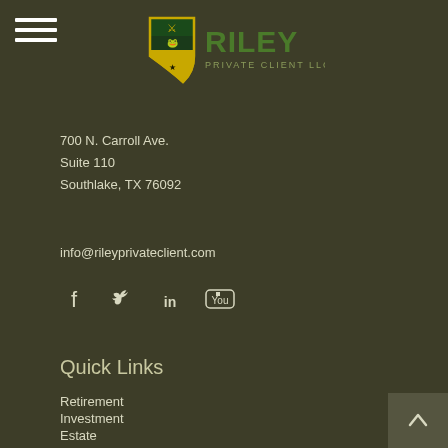[Figure (logo): Riley Private Client LLC logo with shield/crest and text]
700 N. Carroll Ave.
Suite 110
Southlake, TX 76092
info@rileyprivateclient.com
[Figure (infographic): Social media icons: Facebook, Twitter, LinkedIn, YouTube]
Quick Links
Retirement
Investment
Estate
Insurance
Tax